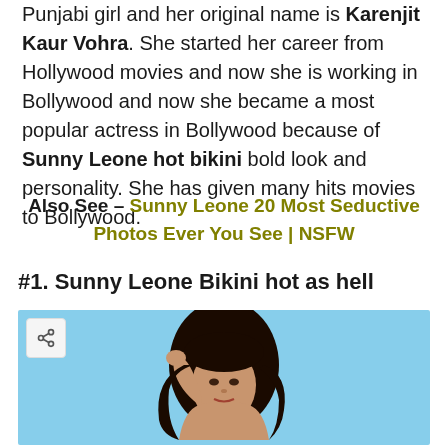Punjabi girl and her original name is Karenjit Kaur Vohra. She started her career from Hollywood movies and now she is working in Bollywood and now she became a most popular actress in Bollywood because of Sunny Leone hot bikini bold look and personality. She has given many hits movies to Bollywood.
Also See – Sunny Leone 20 Most Seductive Photos Ever You See | NSFW
#1. Sunny Leone Bikini hot as hell
[Figure (photo): Photo of a woman with dark hair against a blue sky background, with a share button in the top left corner]